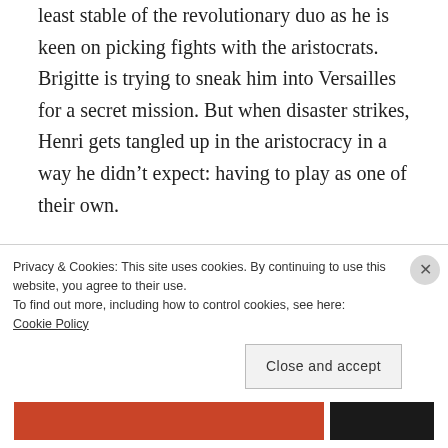least stable of the revolutionary duo as he is keen on picking fights with the aristocrats. Brigitte is trying to sneak him into Versailles for a secret mission. But when disaster strikes, Henri gets tangled up in the aristocracy in a way he didn't expect: having to play as one of their own.
MADAME DU POMMADE — A vicious gossip who haunts the halls of Versailles
Privacy & Cookies: This site uses cookies. By continuing to use this website, you agree to their use.
To find out more, including how to control cookies, see here:
Cookie Policy
Close and accept